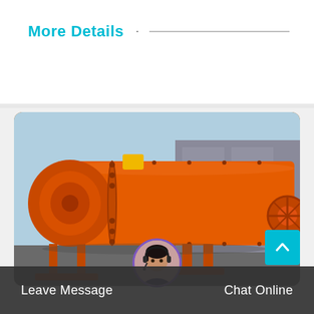More Details
[Figure (photo): Large orange industrial ball mill machine on a support stand in an outdoor factory yard. The cylindrical orange drum extends horizontally with bolted flanges and a large gear wheel visible at the far right end.]
Leave Message
Chat Online